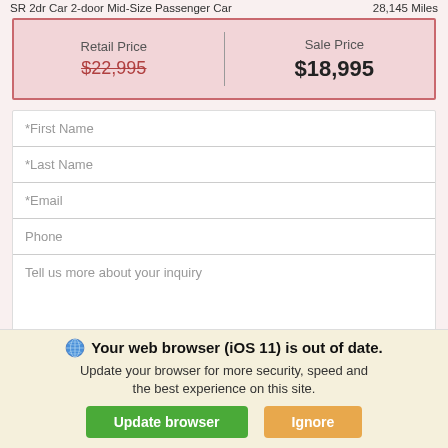SR 2dr Car 2-door Mid-Size Passenger Car   28,145 Miles
| Retail Price | Sale Price |
| --- | --- |
| $22,995 | $18,995 |
*First Name
*Last Name
*Email
Phone
Tell us more about your inquiry
Available via text?
Yes   No
Your web browser (iOS 11) is out of date. Update your browser for more security, speed and the best experience on this site.